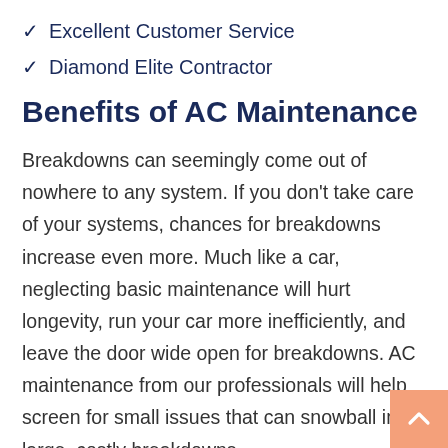✓ Excellent Customer Service
✓ Diamond Elite Contractor
Benefits of AC Maintenance
Breakdowns can seemingly come out of nowhere to any system. If you don't take care of your systems, chances for breakdowns increase even more. Much like a car, neglecting basic maintenance will hurt longevity, run your car more inefficiently, and leave the door wide open for breakdowns. AC maintenance from our professionals will help screen for small issues that can snowball into large, costly breakdowns.